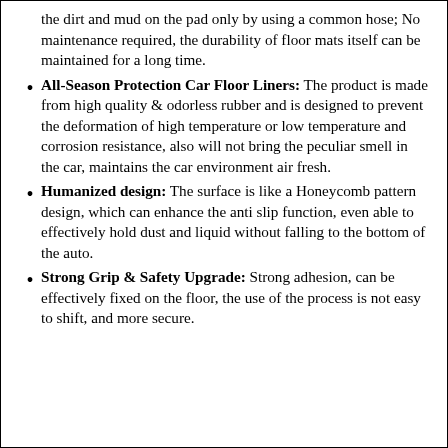the dirt and mud on the pad only by using a common hose; No maintenance required, the durability of floor mats itself can be maintained for a long time.
All-Season Protection Car Floor Liners: The product is made from high quality & odorless rubber and is designed to prevent the deformation of high temperature or low temperature and corrosion resistance, also will not bring the peculiar smell in the car, maintains the car environment air fresh.
Humanized design: The surface is like a Honeycomb pattern design, which can enhance the anti slip function, even able to effectively hold dust and liquid without falling to the bottom of the auto.
Strong Grip & Safety Upgrade: Strong adhesion, can be effectively fixed on the floor, the use of the process is not easy to shift, and more secure.